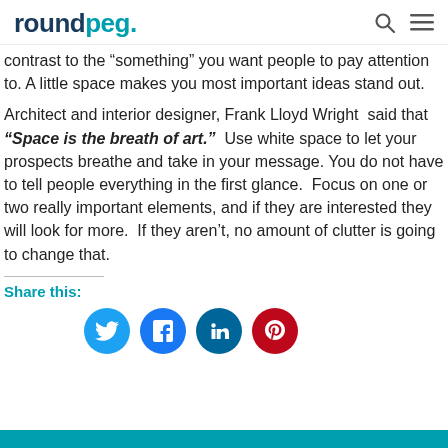roundpeg.
contrast to the “something” you want people to pay attention to. A little space makes you most important ideas stand out.
Architect and interior designer, Frank Lloyd Wright  said that “Space is the breath of art.”  Use white space to let your prospects breathe and take in your message. You do not have to tell people everything in the first glance.  Focus on one or two really important elements, and if they are interested they will look for more.  If they aren’t, no amount of clutter is going to change that.
Share this:
[Figure (infographic): Social sharing icons: Twitter (blue circle), Facebook (blue circle), LinkedIn (dark teal circle), Pinterest (red circle)]